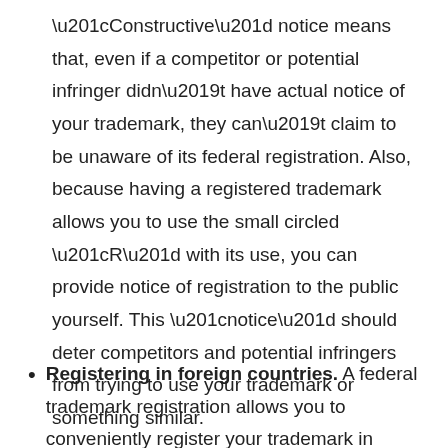“Constructive” notice means that, even if a competitor or potential infringer didn’t have actual notice of your trademark, they can’t claim to be unaware of its federal registration. Also, because having a registered trademark allows you to use the small circled “R” with its use, you can provide notice of registration to the public yourself. This “notice” should deter competitors and potential infringers from trying to use your trademark or something similar.
Registering in foreign countries. A federal trademark registration allows you to conveniently register your trademark in foreign countries. This